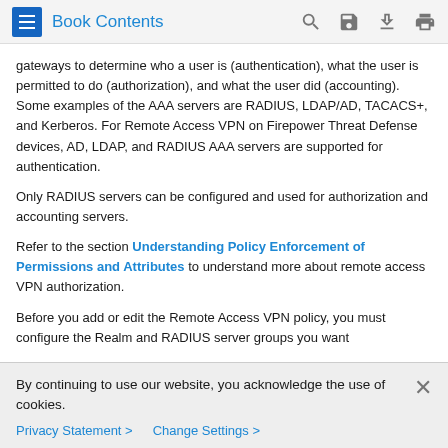Book Contents
gateways to determine who a user is (authentication), what the user is permitted to do (authorization), and what the user did (accounting). Some examples of the AAA servers are RADIUS, LDAP/AD, TACACS+, and Kerberos. For Remote Access VPN on Firepower Threat Defense devices, AD, LDAP, and RADIUS AAA servers are supported for authentication.
Only RADIUS servers can be configured and used for authorization and accounting servers.
Refer to the section Understanding Policy Enforcement of Permissions and Attributes to understand more about remote access VPN authorization.
Before you add or edit the Remote Access VPN policy, you must configure the Realm and RADIUS server groups you want
By continuing to use our website, you acknowledge the use of cookies.
Privacy Statement > Change Settings >